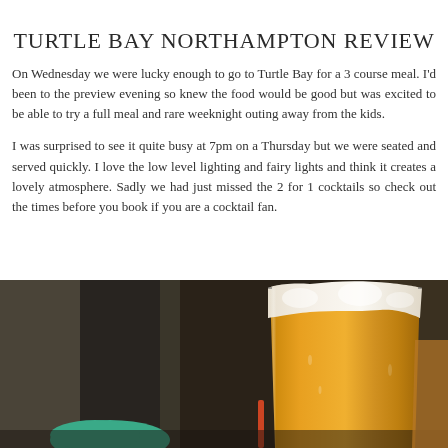TURTLE BAY NORTHAMPTON REVIEW
On Wednesday we were lucky enough to go to Turtle Bay for a 3 course meal.  I'd been to the preview evening so knew the food would be good but was excited to be able to try a full meal and rare weeknight outing away from the kids.
I was surprised to see it quite busy at 7pm on a Thursday but we were seated and served quickly.  I love the low level lighting and fairy lights and think it creates a lovely atmosphere.  Sadly we had just missed the 2 for 1 cocktails so check out the times before you book if you are a cocktail fan.
[Figure (photo): Photo of drinks at Turtle Bay restaurant, showing a tall glass of beer/lager in the foreground with a warm amber colour and frothy head, set against a dark restaurant background]